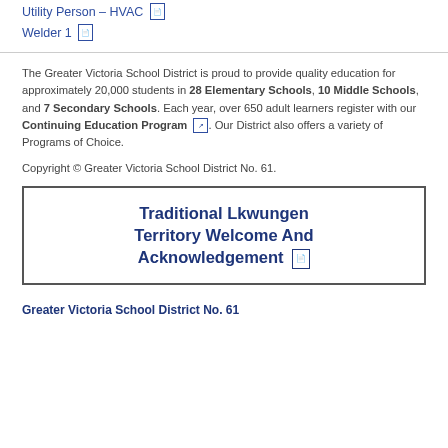Utility Person – HVAC [pdf icon]
Welder 1 [pdf icon]
The Greater Victoria School District is proud to provide quality education for approximately 20,000 students in 28 Elementary Schools, 10 Middle Schools, and 7 Secondary Schools. Each year, over 650 adult learners register with our Continuing Education Program [ext icon]. Our District also offers a variety of Programs of Choice.
Copyright © Greater Victoria School District No. 61.
Traditional Lkwungen Territory Welcome And Acknowledgement [pdf icon]
Greater Victoria School District No. 61